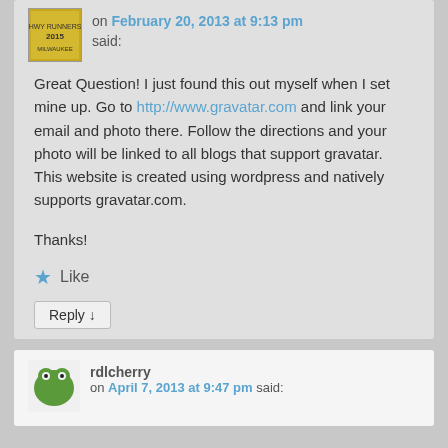[Figure (photo): User avatar thumbnail showing a Milwaukee event logo]
on February 20, 2013 at 9:13 pm said:
Great Question! I just found this out myself when I set mine up. Go to http://www.gravatar.com and link your email and photo there. Follow the directions and your photo will be linked to all blogs that support gravatar. This website is created using wordpress and natively supports gravatar.com.

Thanks!
Like
Reply ↓
[Figure (photo): User avatar for rdlcherry showing a green frog/animal icon]
rdlcherry
on April 7, 2013 at 9:47 pm said: